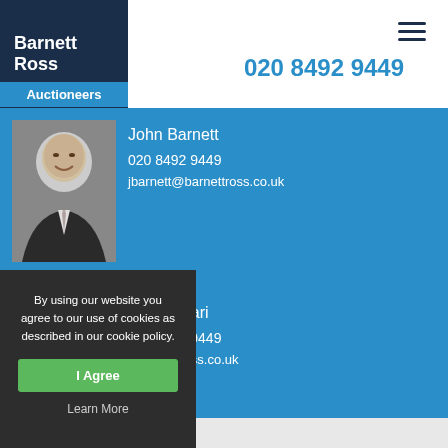[Figure (logo): Barnett Ross Auctioneers logo - white text on dark navy background with blue Auctioneers label]
020 8492 9449
John Barnett
020 8492 9449
jbarnett@barnettross.co.uk
[Figure (photo): Black and white photo of John Barnett, elderly smiling man]
Roy Tamari
020 8492 9449
...barnettross.co.uk
[Figure (photo): Black and white photo of Roy Tamari]
By using our website you agree to our use of cookies as described in our cookie policy.
I Agree
Learn More